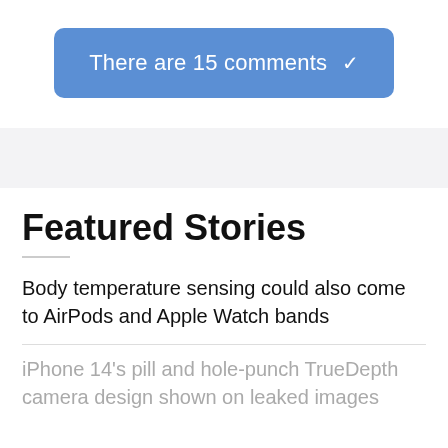[Figure (screenshot): A blue rounded button labeled 'There are 15 comments' with a downward chevron]
Featured Stories
Body temperature sensing could also come to AirPods and Apple Watch bands
iPhone 14's pill and hole-punch TrueDepth camera design shown on leaked images